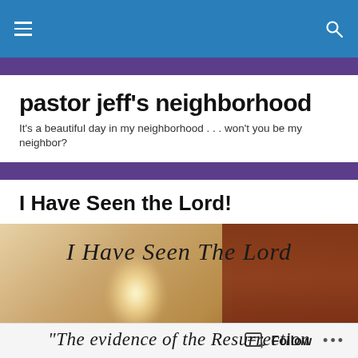pastor jeff's neighborhood — navigation bar
pastor jeff's neighborhood
It's a beautiful day in my neighborhood . . . won't you be my neighbor?
I Have Seen the Lord!
[Figure (photo): Decorative blog post image with cursive text reading 'I Have Seen The Lord' and below '"The evidence of the Resurrection' on a warm sandy/stony background with a glowing figure silhouette]
Follow   ...